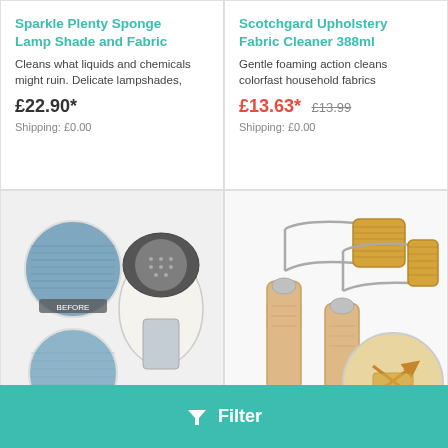Sparkle Plenty Sponge Lamp Shade and Fabric
Cleans what liquids and chemicals might ruin. Delicate lampshades,
£22.90*
Shipping: £0.00
Scotchgard Upholstery Fabric Cleaner 388ml
Gentle foaming action cleans colorfast household fabrics
£13.63*  £13.99
Shipping: £0.00
[Figure (photo): Fabric lint shaver/defuzzer device shown with before and after fabric circles, being held by hand]
[Figure (photo): Wooden-handled fabric shaver/lint remover tools with a close-up detail circle showing the blade action]
Filter